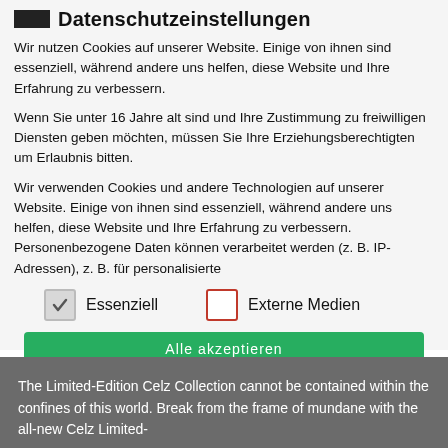Datenschutzeinstellungen
Wir nutzen Cookies auf unserer Website. Einige von ihnen sind essenziell, während andere uns helfen, diese Website und Ihre Erfahrung zu verbessern.
Wenn Sie unter 16 Jahre alt sind und Ihre Zustimmung zu freiwilligen Diensten geben möchten, müssen Sie Ihre Erziehungsberechtigten um Erlaubnis bitten.
Wir verwenden Cookies und andere Technologien auf unserer Website. Einige von ihnen sind essenziell, während andere uns helfen, diese Website und Ihre Erfahrung zu verbessern. Personenbezogene Daten können verarbeitet werden (z. B. IP-Adressen), z. B. für personalisierte
Essenziell
Externe Medien
Alle akzeptieren
The Limited-Edition Celz Collection cannot be contained within the confines of this world. Break from the frame of mundane with the all-new Celz Limited-